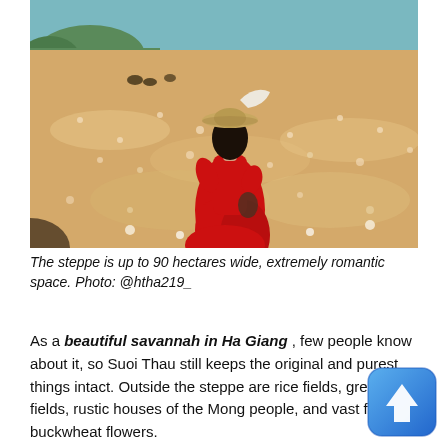[Figure (photo): A woman in a red dress and straw hat stands in a vast field of pale pink buckwheat flowers, viewed from behind, with green trees and blue sky in the background.]
The steppe is up to 90 hectares wide, extremely romantic space. Photo: @htha219_
As a beautiful savannah in Ha Giang , few people know about it, so Suoi Thau still keeps the original and purest things intact. Outside the steppe are rice fields, green corn fields, rustic houses of the Mong people, and vast fields of buckwheat flowers.